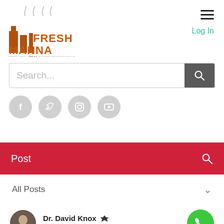[Figure (logo): Fresh Manna logo with steam and text FM01.ORG | REAL SHORT DEVOTIONALS]
[Figure (other): Hamburger menu icon (three horizontal lines)]
Log In
[Figure (other): Search bar with placeholder text 'Search...' and search button]
[Figure (other): Social media icons: Facebook, Twitter, Instagram, YouTube]
[Figure (other): Red Post navigation bar with search icon]
All Posts
Dr. David Knox
Oct 12, 2021